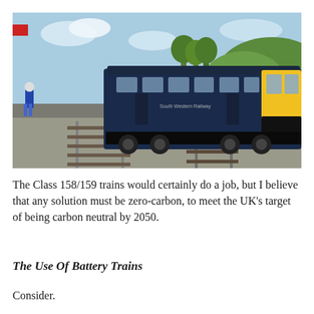[Figure (photo): A South Western Railway Class 158/159 train in dark blue and yellow livery stopped at a rural station platform. A pedestrian footbridge spans the tracks in the background, trees and hills visible. A person stands on the left platform.]
The Class 158/159 trains would certainly do a job, but I believe that any solution must be zero-carbon, to meet the UK's target of being carbon neutral by 2050.
The Use Of Battery Trains
Consider.